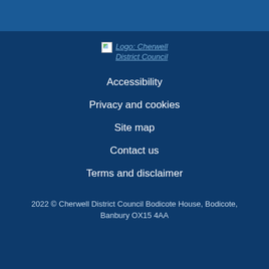[Figure (logo): Cherwell District Council logo (broken image placeholder with alt text 'Logo: Cherwell District Council')]
Accessibility
Privacy and cookies
Site map
Contact us
Terms and disclaimer
2022 © Cherwell District Council Bodicote House, Bodicote, Banbury OX15 4AA